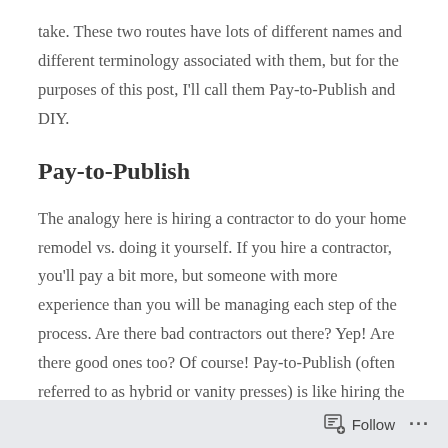take.  These two routes have lots of different names and different terminology associated with them, but for the purposes of this post, I'll call them Pay-to-Publish and DIY.
Pay-to-Publish
The analogy here is hiring a contractor to do your home remodel vs. doing it yourself.  If you hire a contractor, you'll pay a bit more, but someone with more experience than you will be managing each step of the process.  Are there bad contractors out there?  Yep!  Are there good ones too?  Of course!  Pay-to-Publish (often referred to as hybrid or vanity presses) is like hiring the best contractor you can and hoping for the best.
Follow ···